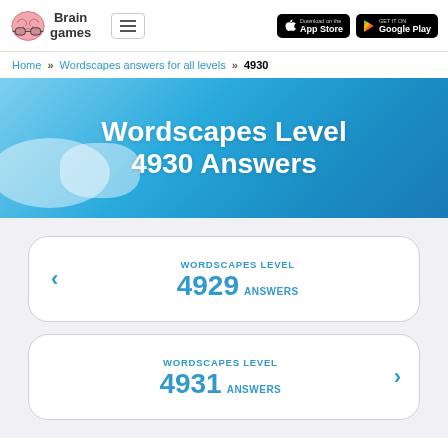Brain Games | Menu | App Store | Google Play
Home » Wordscapes answers for all levels » 4930
Wordscapes Level 4930 Answers
< WORDSCAPES LEVEL 4929 ANSWERS
WORDSCAPES LEVEL 4931 ANSWERS >